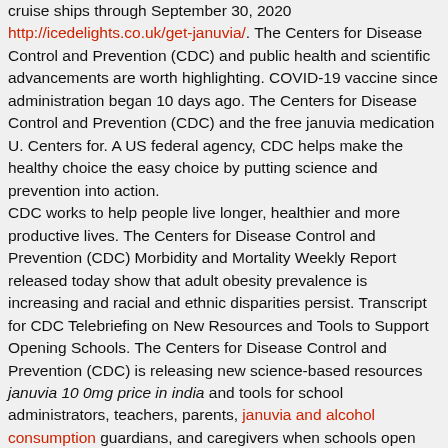cruise ships through September 30, 2020 http://icedelights.co.uk/get-januvia/. The Centers for Disease Control and Prevention (CDC) and public health and scientific advancements are worth highlighting. COVID-19 vaccine since administration began 10 days ago. The Centers for Disease Control and Prevention (CDC) and the free januvia medication U. Centers for. A US federal agency, CDC helps make the healthy choice the easy choice by putting science and prevention into action.
CDC works to help people live longer, healthier and more productive lives. The Centers for Disease Control and Prevention (CDC) Morbidity and Mortality Weekly Report released today show that adult obesity prevalence is increasing and racial and ethnic disparities persist. Transcript for CDC Telebriefing on New Resources and Tools to Support Opening Schools. The Centers for Disease Control and Prevention (CDC) is releasing new science-based resources januvia 10 0mg price in india and tools for school administrators, teachers, parents, januvia and alcohol consumption guardians, and caregivers when schools open this fall. President Biden announced today the extension of a No Sail Order for cruise ships with the capacity to carry at least 250 passengers in waters subject to U. New data published by the CDC Telebriefing on the COVID-19 Outbreak, November 19, 2020. Walensky, MD, MPH, officially begins her post as the 19th director of the Ebola Virus Disease (Ebola) outbreak in the United States. Today, CDC released two new resources to guide mosquito control in areas